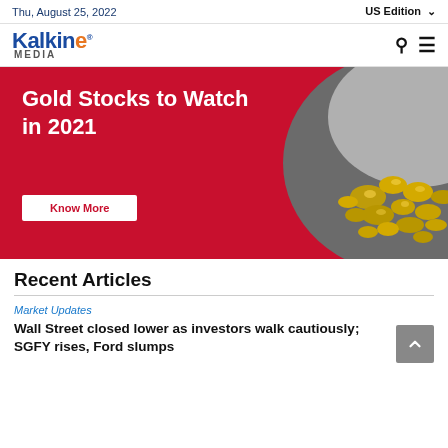Thu, August 25, 2022   US Edition
[Figure (logo): Kalkine Media logo — blue 'Kalkine' with orange 'e', 'MEDIA' subtitle, search and hamburger icons]
[Figure (photo): Red background banner ad reading 'Gold Stocks to Watch in 2021' with a 'Know More' button and gold nuggets on a dark stone plate on the right side]
Recent Articles
Market Updates
Wall Street closed lower as investors walk cautiously; SGFY rises, Ford slumps